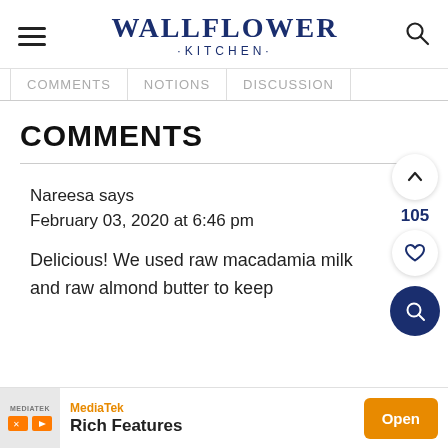WALLFLOWER KITCHEN
Comments  Notions  Discussion
COMMENTS
Nareesa says
February 03, 2020 at 6:46 pm
Delicious! We used raw macadamia milk and raw almond butter to keep
[Figure (screenshot): MediaTek Rich Features advertisement banner with orange Open button]